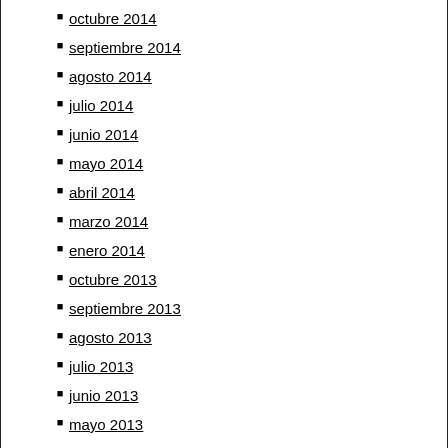octubre 2014
septiembre 2014
agosto 2014
julio 2014
junio 2014
mayo 2014
abril 2014
marzo 2014
enero 2014
octubre 2013
septiembre 2013
agosto 2013
julio 2013
junio 2013
mayo 2013